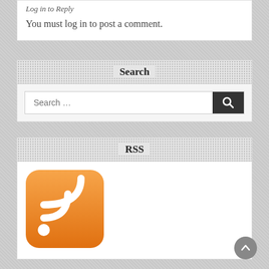Log in to Reply
You must log in to post a comment.
Search
[Figure (screenshot): Search input bar with magnifying glass button]
RSS
[Figure (logo): Orange RSS feed icon with white WiFi-style signal waves]